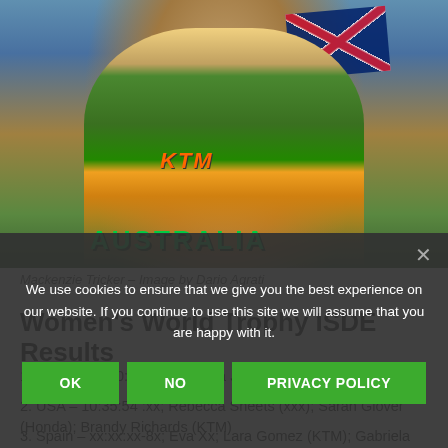[Figure (photo): Photo of Mackenzie Tricker wearing an Australian KTM jersey, waving to the crowd, with a Union Jack flag visible in the background.]
Mackenzie Tricker – Image by Dario Agrati
Women's World Trophy ISDE Results
1. Australia – 10:26:54:17; Tayla Jones (Husqvarna); Jessica
2. USA – 10:35:54:xx; Rebecca Sheets (xxx); Sarah Glover (Honda); Brandy Richards (KTM)
3. Spain – xx:xx:xx-8x; Eva Xx; Lara Gomez (KTM); Gabriela Sardedos (Gas Gas)
We use cookies to ensure that we give you the best experience on our website. If you continue to use this site we will assume that you are happy with it.